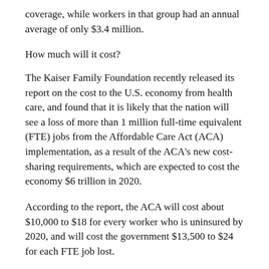coverage, while workers in that group had an annual average of only $3.4 million.
How much will it cost?
The Kaiser Family Foundation recently released its report on the cost to the U.S. economy from health care, and found that it is likely that the nation will see a loss of more than 1 million full-time equivalent (FTE) jobs from the Affordable Care Act (ACA) implementation, as a result of the ACA's new cost-sharing requirements, which are expected to cost the economy $6 trillion in 2020.
According to the report, the ACA will cost about $10,000 to $18 for every worker who is uninsured by 2020, and will cost the government $13,500 to $24 for each FTE job lost.